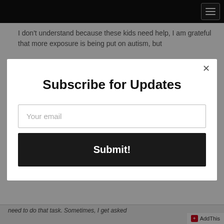Navigation bar with hamburger menu
I don't understand because these kids need help, I am grateful that more exposure is being put on autism, but
Subscribe for Updates
Your email
Submit!
AddThis